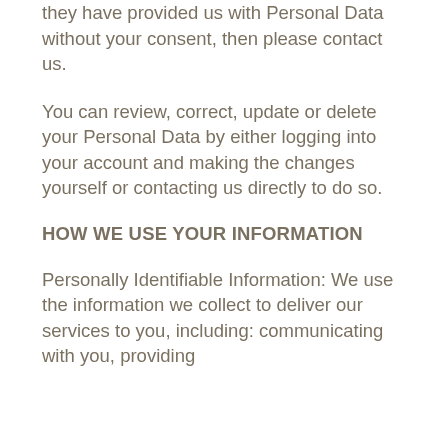they have provided us with Personal Data without your consent, then please contact us.
You can review, correct, update or delete your Personal Data by either logging into your account and making the changes yourself or contacting us directly to do so.
HOW WE USE YOUR INFORMATION
Personally Identifiable Information: We use the information we collect to deliver our services to you, including: communicating with you, providing